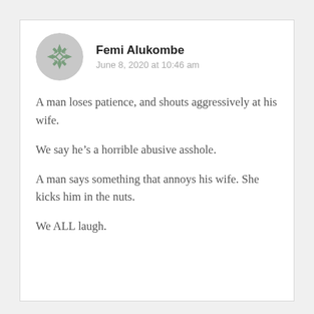[Figure (illustration): Circular avatar with green geometric snowflake/star pattern on grey background]
Femi Alukombe
June 8, 2020 at 10:46 am
A man loses patience, and shouts aggressively at his wife.
We say he’s a horrible abusive asshole.
A man says something that annoys his wife. She kicks him in the nuts.
We ALL laugh.